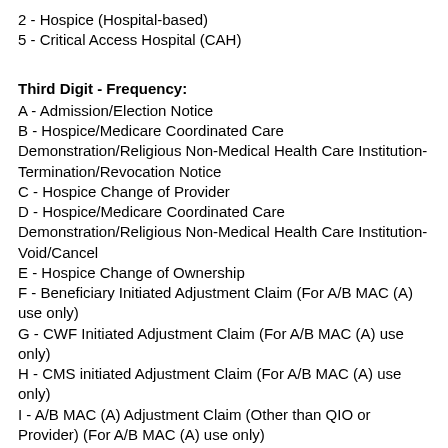2 - Hospice (Hospital-based)
5 - Critical Access Hospital (CAH)
Third Digit - Frequency:
A - Admission/Election Notice
B - Hospice/Medicare Coordinated Care Demonstration/Religious Non-Medical Health Care Institution-Termination/Revocation Notice
C - Hospice Change of Provider
D - Hospice/Medicare Coordinated Care Demonstration/Religious Non-Medical Health Care Institution-Void/Cancel
E - Hospice Change of Ownership
F - Beneficiary Initiated Adjustment Claim (For A/B MAC (A) use only)
G - CWF Initiated Adjustment Claim (For A/B MAC (A) use only)
H - CMS initiated Adjustment Claim (For A/B MAC (A) use only)
I - A/B MAC (A) Adjustment Claim (Other than QIO or Provider) (For A/B MAC (A) use only)